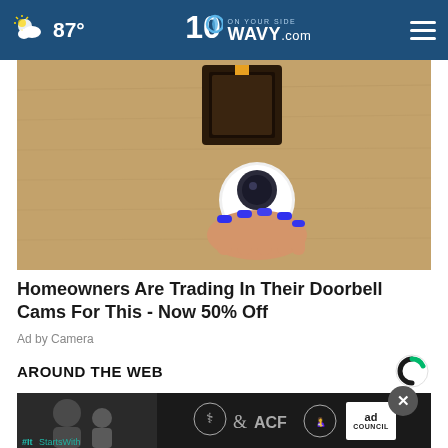87° WAVY.com On Your Side
[Figure (photo): Security camera mounted on an exterior wall, held by a hand with blue nail polish]
Homeowners Are Trading In Their Doorbell Cams For This - Now 50% Off
Ad by Camera
AROUND THE WEB
[Figure (photo): Blurred background content area]
[Figure (photo): Ad Council banner ad with ACF logo and child photo]